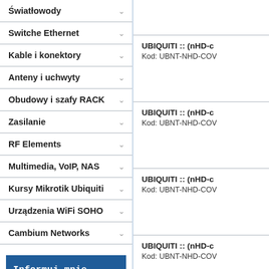Światłowody
Switche Ethernet
Kable i konektory
Anteny i uchwyty
Obudowy i szafy RACK
Zasilanie
RF Elements
Multimedia, VoIP, NAS
Kursy Mikrotik Ubiquiti
Urządzenia WiFi SOHO
Cambium Networks
Informuj mnie o nowościach i promocjach
adres email
UBIQUITI :: (nHD-c... Kod: UBNT-NHD-COV...
UBIQUITI :: (nHD-c... Kod: UBNT-NHD-COV...
UBIQUITI :: (nHD-c... Kod: UBNT-NHD-COV...
UBIQUITI :: (nHD-c... Kod: UBNT-NHD-COV...